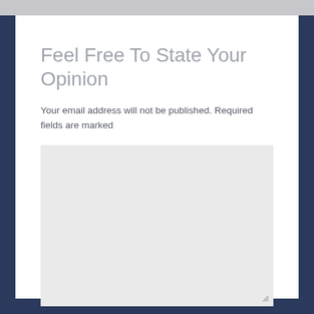Feel Free To State Your Opinion
Your email address will not be published. Required fields are marked
[Figure (other): Empty textarea input box with light gray background and resize handle in the bottom-right corner]